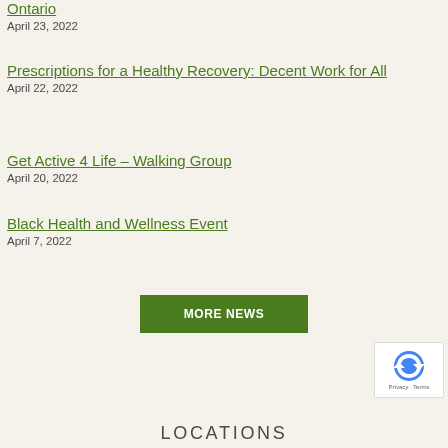Ontario
April 23, 2022
Prescriptions for a Healthy Recovery: Decent Work for All
April 22, 2022
Get Active 4 Life – Walking Group
April 20, 2022
Black Health and Wellness Event
April 7, 2022
MORE NEWS
LOCATIONS